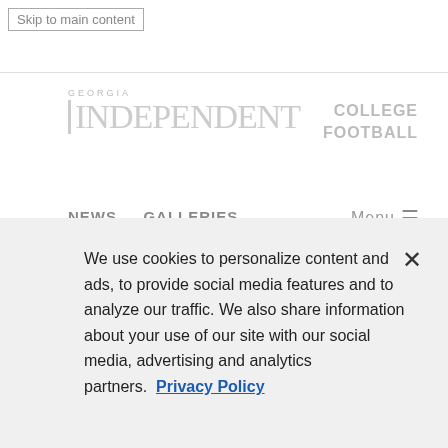Skip to main content
[Figure (logo): Georgia Independent newspaper logo with text GEORGIA INDEPENDENT in stylized serif font]
COLLEGE FOOTBALL
NEWS   GALLERIES   Menu
Social share icons: Facebook, Twitter, Email, Copy link
Burrow's 2 TDs Lift No. 5
We use cookies to personalize content and ads, to provide social media features and to analyze our traffic. We also share information about your use of our site with our social media, advertising and analytics partners. Privacy Policy